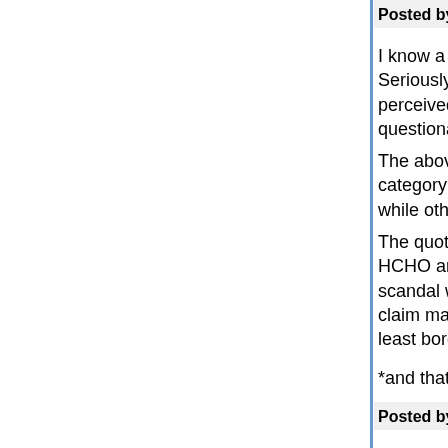Posted by: KCinDC | June 21, 2009 at 03:44 PM
I know a similar one about kosher cooking oil tota... Seriously, a claim of "free of X" is imo legitimate, i... perceived) possibility that X could indeed be part... questionable, if that is not the case. The above mentioned case of "mercury free" batt... category because there are common types of batt... while others do not. The quoted Cottage Cheese ad clearly implies tha... HCHO and As (assuming that neither is healthy).... scandal with poisoned/polluted cheese, the ad co... claim made is true and there is indeed no As or H... least borderline, if not impermissible as smear by...
*and that this is indeed the only brand putting the...
Posted by: Hartmut | June 22, 2009 at 05:15 AM
While I am at it, if "free of X" potentially violates la... certain products as kosher or halal? That also imp... been done* with the product without it (usually) ha... detectable effect on the finished item. If we follo...